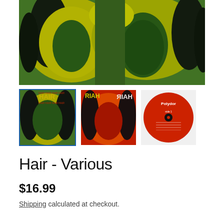[Figure (photo): Main album cover image for Hair - Various. Psychedelic green and yellow toned artwork showing two faces with large afro hair, black and yellow hues on green background.]
[Figure (photo): Thumbnail 1: Album front cover with HAIR text visible at top, green and yellow afro figure.]
[Figure (photo): Thumbnail 2: Alternate album cover version with red/orange toned afro figure, HAIR text mirrored.]
[Figure (photo): Thumbnail 3: Red Polydor vinyl record label showing track listing.]
Hair - Various
$16.99
Shipping calculated at checkout.